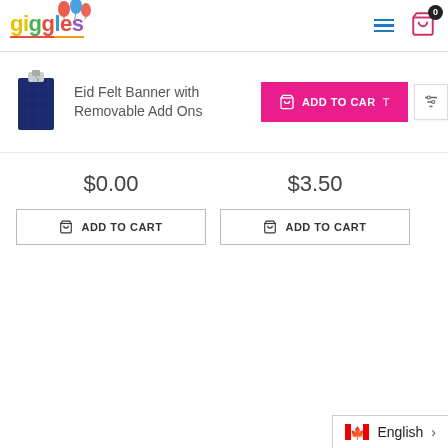Giggles - navigation header with hamburger menu and cart icon (0 items)
Eid Felt Banner with Removable Add Ons
ADD TO CART
$0.00
ADD TO CART
$3.50
ADD TO CART
English >